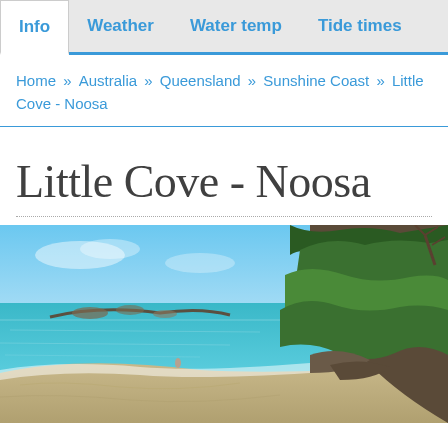Info | Weather | Water temp | Tide times
Home » Australia » Queensland » Sunshine Coast » Little Cove - Noosa
Little Cove - Noosa
[Figure (photo): Coastal photo of Little Cove - Noosa showing a sandy beach cove with turquoise water, rocky shoreline, and lush green trees/vegetation on the right side cliffs under a blue sky.]